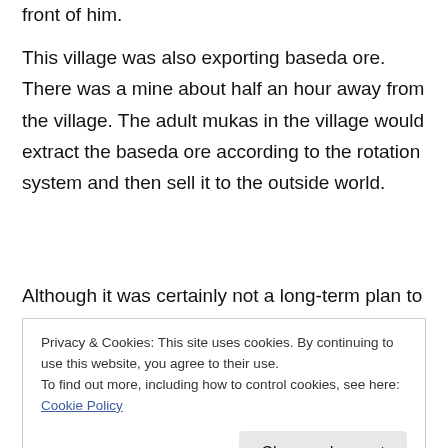front of him.
This village was also exporting baseda ore. There was a mine about half an hour away from the village. The adult mukas in the village would extract the baseda ore according to the rotation system and then sell it to the outside world.
Although it was certainly not a long-term plan to rely on the export of natural resources alone, in the beginning of development, sitting on a rare
Privacy & Cookies: This site uses cookies. By continuing to use this website, you agree to their use.
To find out more, including how to control cookies, see here: Cookie Policy
Besides, the price of baseda ore, a rare resource,